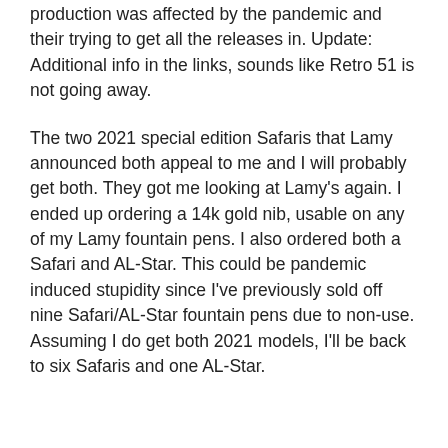production was affected by the pandemic and their trying to get all the releases in. Update: Additional info in the links, sounds like Retro 51 is not going away.
The two 2021 special edition Safaris that Lamy announced both appeal to me and I will probably get both. They got me looking at Lamy's again. I ended up ordering a 14k gold nib, usable on any of my Lamy fountain pens. I also ordered both a Safari and AL-Star. This could be pandemic induced stupidity since I've previously sold off nine Safari/AL-Star fountain pens due to non-use. Assuming I do get both 2021 models, I'll be back to six Safaris and one AL-Star.